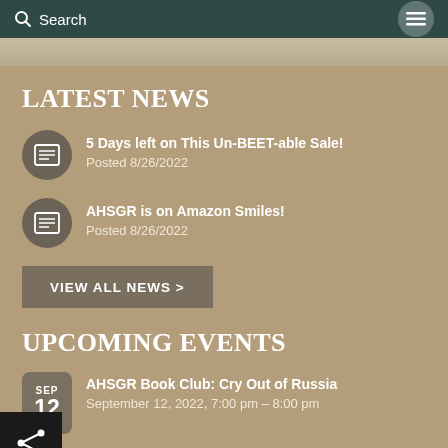Search
LATEST NEWS
5 Days left on This Un-BEET-able Sale! Posted 8/26/2022
AHSGR is on Amazon Smiles! Posted 8/26/2022
VIEW ALL NEWS >
UPCOMING EVENTS
AHSGR Book Club: Cry Out of Russia, September 12, 2022, 7:00 pm - 8:00 pm
Treffen Tuesday